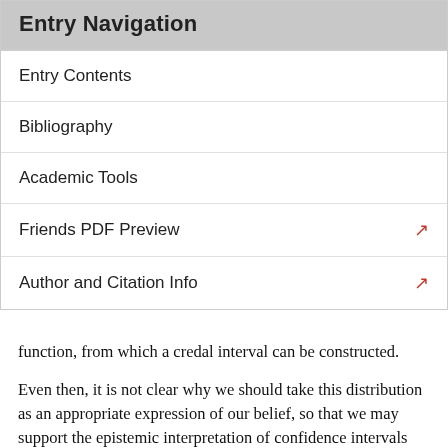Entry Navigation
Entry Contents
Bibliography
Academic Tools
Friends PDF Preview
Author and Citation Info
function, from which a credal interval can be constructed.
Even then, it is not clear why we should take this distribution as an appropriate expression of our belief, so that we may support the epistemic interpretation of confidence intervals with it. And so the debate continues. In the end fiducial probability is perhaps best understood as a half-way house between the classical and the Bayesian view on statistics. Classical statistics grew out of a frequentist interpretation of probability, and accordingly the probabilities appearing in the classical